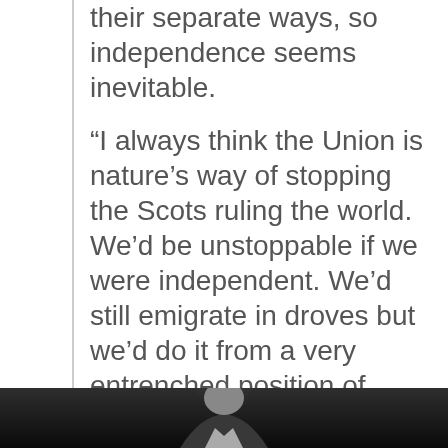their separate ways, so independence seems inevitable.
“I always think the Union is nature’s way of stopping the Scots ruling the world. We’d be unstoppable if we were independent. We’d still emigrate in droves but we’d do it from a very entrenched position of confidence. All that ambition and arrogance would be unbridled right across the world. It would be a sight to behold.”
[Figure (photo): Black and white photograph of a person, cropped to show head and shoulders at the bottom of the page]